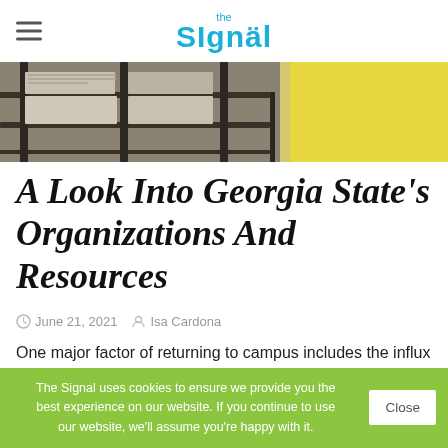the Signal
[Figure (photo): Close-up photo of newspapers or magazines on a shelf/rack, partially blurred, with yellow background visible]
A Look Into Georgia State's Organizations And Resources
June 21, 2021   Isa Cardona
One major factor of returning to campus includes the influx of students, especially freshmen, who now have to learn how to navigate college life and social activity after experiencing the isolation of a pandemic.  Georgia […]
The Signal uses cookies to ensure we provide you the best experience on our website. If you continue to use our website, we'll assume you're happy with it.